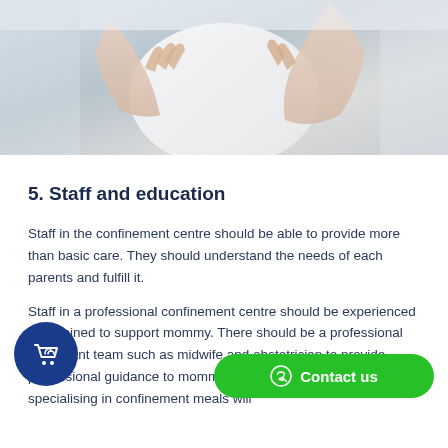[Figure (photo): Close-up photo of hands holding a newborn baby wrapped in white cloth, light/clinical background]
5. Staff and education
Staff in the confinement centre should be able to provide more than basic care. They should understand the needs of each parents and fulfill it.
Staff in a professional confinement centre should be experienced and trained to support mommy. There should be a professional consultant team such as midwife and obstetrician to provide professional guidance to mommy in the centre. Culinary chef specialising in confinement meals will